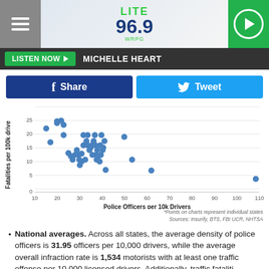[Figure (logo): Lite 96.9 WRPG radio station logo with green play button and hamburger menu]
LISTEN NOW ▶  MICHELLE HEART
[Figure (infographic): Facebook Share and Twitter Tweet social sharing buttons]
[Figure (continuous-plot): Scatter plot of Police Officers per 10k Drivers (x-axis, 10 to 110) vs Fatalities per 100k drive (y-axis, 0 to ~27). Dense cluster of points between x=15-40, y=8-27. Sparse points at higher x values. One outlier near x=105, y=5.]
*Points on charts represent individual states
Sources: Insurify, BTS, FBI UCR, NHTSA
National averages. Across all states, the average density of police officers is 31.95 officers per 10,000 drivers, while the average overall infraction rate is 1,534 motorists with at least one traffic offense per 10,000 licensed drivers. Additionally, traffic fatalities...